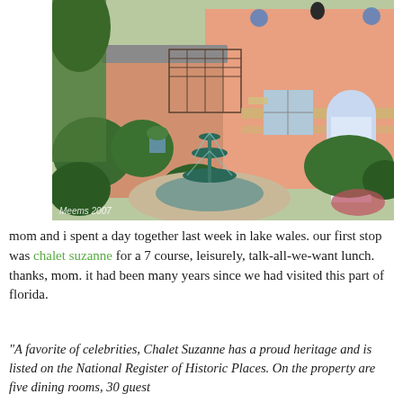[Figure (photo): Exterior photo of Chalet Suzanne showing a pink building with arched white door, garden hedges, and a multi-tiered green fountain in the foreground. Watermark reads 'Meems 2007'.]
mom and i spent a day together last week in lake wales. our first stop was chalet suzanne for a 7 course, leisurely, talk-all-we-want lunch. thanks, mom. it had been many years since we had visited this part of florida.
"A favorite of celebrities, Chalet Suzanne has a proud heritage and is listed on the National Register of Historic Places. On the property are five dining rooms, 30 guest